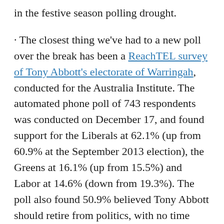in the festive season polling drought.
· The closest thing we've had to a new poll over the break has been a ReachTEL survey of Tony Abbott's electorate of Warringah, conducted for the Australia Institute. The automated phone poll of 743 respondents was conducted on December 17, and found support for the Liberals at 62.1% (up from 60.9% at the September 2013 election), the Greens at 16.1% (up from 15.5%) and Labor at 14.6% (down from 19.3%). The poll also found 50.9% believed Tony Abbott should retire from politics, with no time frame specified, while 35.4% preferring that he remain. When asked if his departure would make them more likely to vote Liberal, 36.7% said it would, compared